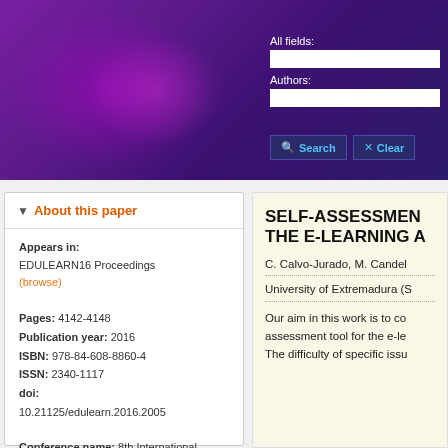[Figure (screenshot): Purple gradient header banner with search fields for All fields and Authors, plus Search and Clear buttons]
About this paper
Appears in: EDULEARN16 Proceedings (browse)
Pages: 4142-4148
Publication year: 2016
ISBN: 978-84-608-8860-4
ISSN: 2340-1117
doi: 10.21125/edulearn.2016.2005
Conference name: 8th International Conference on Education and New Learning Technologies
Dates: 4-6 July, 2016
SELF-ASSESSMENT THE E-LEARNING A
C. Calvo-Jurado, M. Candel
University of Extremadura (S
Our aim in this work is to c... assessment tool for the e-le... The difficulty of specific issu...